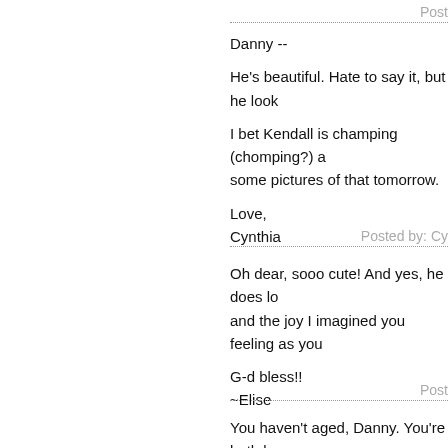Post
Danny --

He's beautiful. Hate to say it, but he look

I bet Kendall is champing (chomping?) a some pictures of that tomorrow.

Love,
Cynthia
Posted by: Cy
Oh dear, sooo cute! And yes, he does lo and the joy I imagined you feeling as you

G-d bless!!
~Elise
Post
You haven't aged, Danny. You're both be